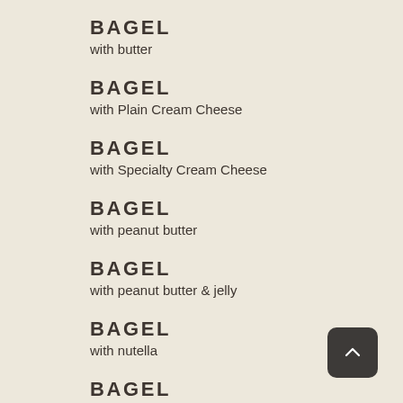BAGEL
with butter
BAGEL
with Plain Cream Cheese
BAGEL
with Specialty Cream Cheese
BAGEL
with peanut butter
BAGEL
with peanut butter & jelly
BAGEL
with nutella
BAGEL